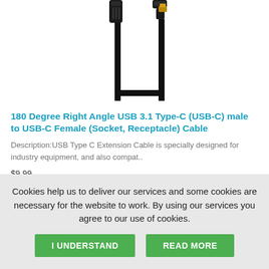[Figure (photo): Photo of a 180 degree right angle USB Type-C cable with two connectors — one straight USB-C connector and one right-angle gold-tipped connector — connected by a flat black cable]
180 Degree Right Angle USB 3.1 Type-C (USB-C) male to USB-C Female (Socket, Receptacle) Cable
Description:USB Type C Extension Cable is specially designed for industry equipment, and also compat..
$9.99
Cookies help us to deliver our services and some cookies are necessary for the website to work. By using our services you agree to our use of cookies.
I UNDERSTAND
READ MORE